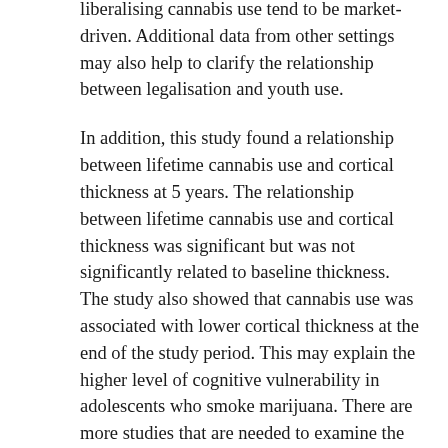liberalising cannabis use tend to be market-driven. Additional data from other settings may also help to clarify the relationship between legalisation and youth use.
In addition, this study found a relationship between lifetime cannabis use and cortical thickness at 5 years. The relationship between lifetime cannabis use and cortical thickness was significant but was not significantly related to baseline thickness. The study also showed that cannabis use was associated with lower cortical thickness at the end of the study period. This may explain the higher level of cognitive vulnerability in adolescents who smoke marijuana. There are more studies that are needed to examine the effects of marijuana on adolescent brain development.
Future research is needed to determine whether